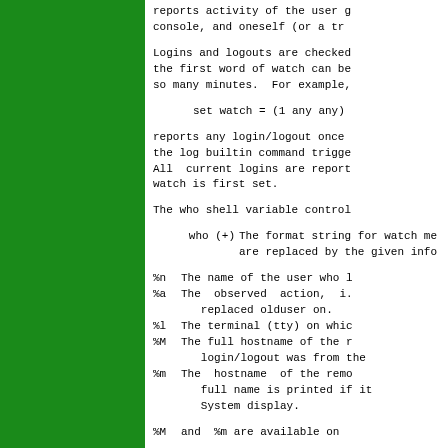reports activity of the user g console, and oneself (or a tr
Logins and logouts are checked the first word of watch can be so many minutes.  For example,
set watch = (1 any any)
reports any login/logout once the log builtin command trigge All  current logins are report watch is first set.
The who shell variable control
who (+)  The format string for watch me are replaced by the given info
%n  The name of the user who l %a  The  observed  action,  i.     replaced olduser on. %l  The terminal (tty) on whic %M  The full hostname of the r     login/logout was from the %m  The  hostname  of the remo     full name is printed if it     System display.
%M  and  %m are available on